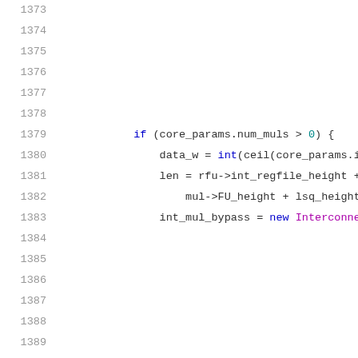[Figure (screenshot): Source code listing with line numbers 1373-1394, showing C++ code with syntax highlighting. Lines include an if statement checking core_params.num_muls > 0, variable assignments for data_w, len, and int_mul_bypass using new Interconnect, and additional assignments for data_w and len at lines 1392-1394.]